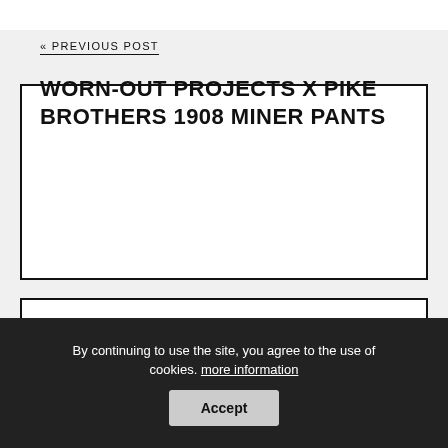« PREVIOUS POST
WORN-OUT PROJECTS X PIKE BROTHERS 1908 MINER PANTS
NEXT POST »
MEET THE PERSON: PEY A.K.A.
SASHIKODENIM + VIDEO
By continuing to use the site, you agree to the use of cookies. more information
Accept